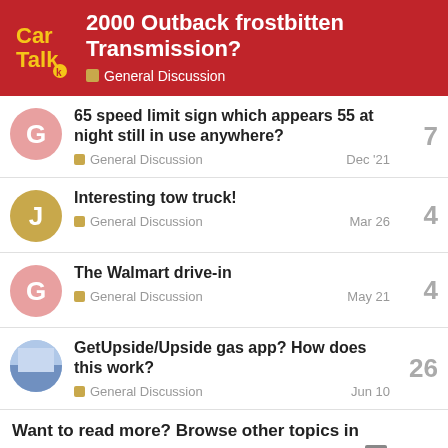2000 Outback frostbitten Transmission? — General Discussion
65 speed limit sign which appears 55 at night still in use anywhere? — General Discussion — Dec '21 — 7
Interesting tow truck! — General Discussion — Mar 26 — 4
The Walmart drive-in — General Discussion — May 21 — 4
GetUpside/Upside gas app? How does this work? — General Discussion — Jun 10 — 26
Want to read more? Browse other topics in General Discussi... or view latest topics. X